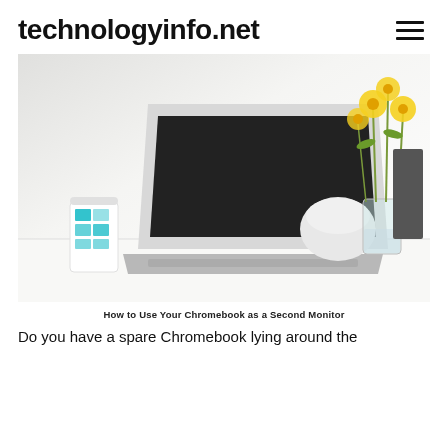technologyinfo.net
[Figure (photo): A white laptop open on a white desk with a teal/white coffee cup on the left and yellow flowers in a glass vase on the right]
How to Use Your Chromebook as a Second Monitor
Do you have a spare Chromebook lying around the